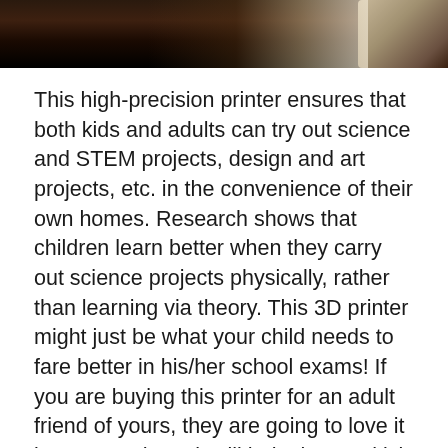[Figure (photo): Close-up photo of a 3D printer mechanical component, dark background with gear/extruder parts visible]
This high-precision printer ensures that both kids and adults can try out science and STEM projects, design and art projects, etc. in the convenience of their own homes. Research shows that children learn better when they carry out science projects physically, rather than learning via theory. This 3D printer might just be what your child needs to fare better in his/her school exams! If you are buying this printer for an adult friend of yours, they are going to love it just as much, as it will help them to kick start a new hobby project.
Verdict: This fully open source printer allows you to make changes to its software as well and is a great gift for those involved in STEM projects, just as it is